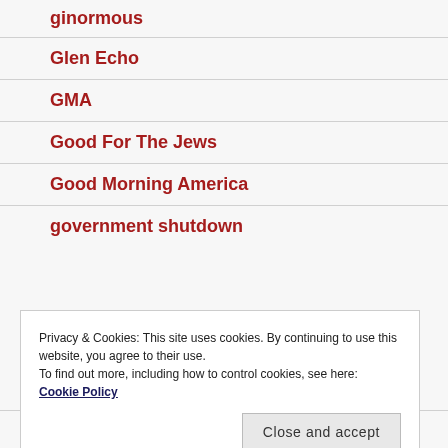ginormous
Glen Echo
GMA
Good For The Jews
Good Morning America
government shutdown
Privacy & Cookies: This site uses cookies. By continuing to use this website, you agree to their use.
To find out more, including how to control cookies, see here: Cookie Policy
grindhouse